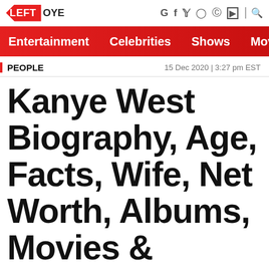LEFT OYE — G f y o p [flipboard] [search]
Entertainment   Celebrities   Shows   Mov
PEOPLE   15 Dec 2020 | 3:27 pm EST
Kanye West Biography, Age, Facts, Wife, Net Worth, Albums, Movies & Shows,